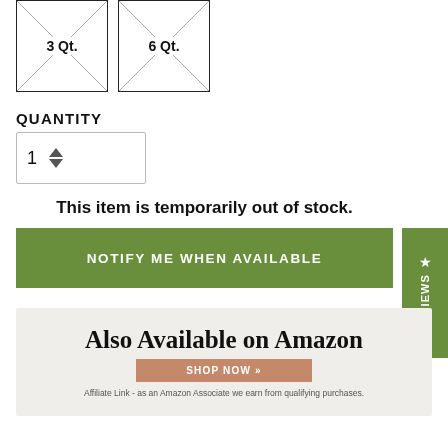[Figure (illustration): Two product image placeholders showing '3 Qt.' and '6 Qt.' with crossed-out box image placeholders]
QUANTITY
[Figure (other): Quantity selector showing value 1 with up/down arrows]
This item is temporarily out of stock.
Notify Me When Available
★ REVIEWS
[Figure (other): Also Available on Amazon banner with Shop Now button]
Affiliate Link - as an Amazon Associate we earn from qualifying purchases.